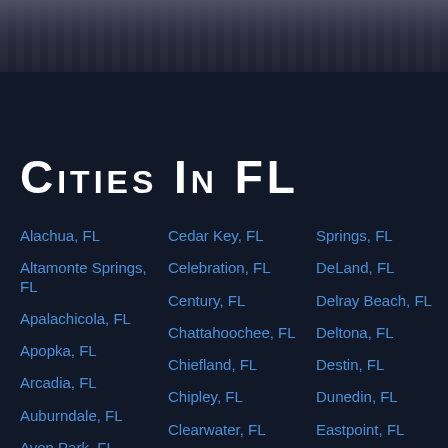[Figure (photo): Dark background photo of a building or architectural element, shown at the top of the page]
Cities in FL
Alachua, FL
Altamonte Springs, FL
Apalachicola, FL
Apopka, FL
Arcadia, FL
Auburndale, FL
Avon Park, FL
Bartow, FL
Cedar Key, FL
Celebration, FL
Century, FL
Chattahoochee, FL
Chiefland, FL
Chipley, FL
Clearwater, FL
Clermont, FL
Springs, FL
DeLand, FL
Delray Beach, FL
Deltona, FL
Destin, FL
Dunedin, FL
Eastpoint, FL
Estero, FL